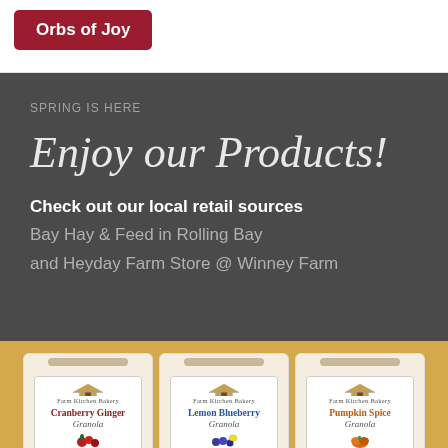Orbs of Joy
SPRING IS HERE
Enjoy our Products!
Check out our local retail sources
Bay Hay & Feed in Rolling Bay
and Heyday Farm Store @ Winney Farm
[Figure (photo): Three product bags of Farm Kitchen Bakery granola varieties: Cranberry Ginger Granola, Lemon Blueberry Granola, and Pumpkin Spice Granola, displayed on a golden/yellow background.]